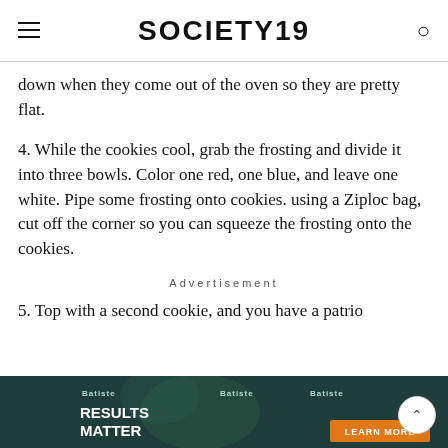SOCIETY19
down when they come out of the oven so they are pretty flat.
4. While the cookies cool, grab the frosting and divide it into three bowls. Color one red, one blue, and leave one white. Pipe some frosting onto cookies. using a Ziploc bag, cut off the corner so you can squeeze the frosting onto the cookies.
Advertisement
5. Top with a second cookie, and you have a patriotic cookie sandwich! Enjoy!
[Figure (photo): Batiste hair product advertisement banner with 'RESULTS MATTER' tagline and 'LEARN MORE' call to action button]